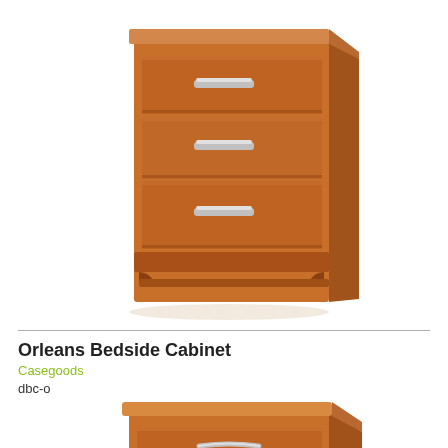[Figure (photo): Product photo of a wooden bedside chest of drawers (top portion), medium cherry/oak finish, with three visible drawers and silver bar handles, on a white background]
Orleans Bedside Cabinet
Casegoods
dbc-o
[Figure (photo): Product photo of an Orleans Bedside Cabinet, medium cherry finish, three drawers with silver arc handles, flat top surface, on a white background]